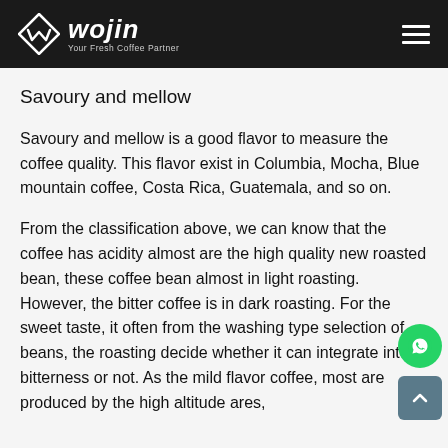wojin — Your Fresh Coffee Partner
Savoury and mellow
Savoury and mellow is a good flavor to measure the coffee quality. This flavor exist in Columbia, Mocha, Blue mountain coffee, Costa Rica, Guatemala, and so on.
From the classification above, we can know that the coffee has acidity almost are the high quality new roasted bean, these coffee bean almost in light roasting. However, the bitter coffee is in dark roasting. For the sweet taste, it often from the washing type selection of beans, the roasting decide whether it can integrate into bitterness or not. As the mild flavor coffee, most are produced by the high altitude ares,